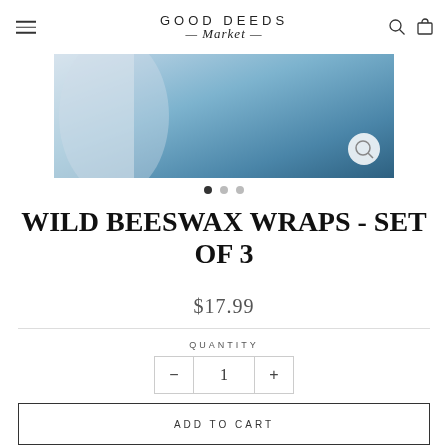GOOD DEEDS Market
[Figure (photo): Product photo showing blue beeswax wraps with magnify button overlay]
WILD BEESWAX WRAPS - SET OF 3
$17.99
QUANTITY
1
ADD TO CART